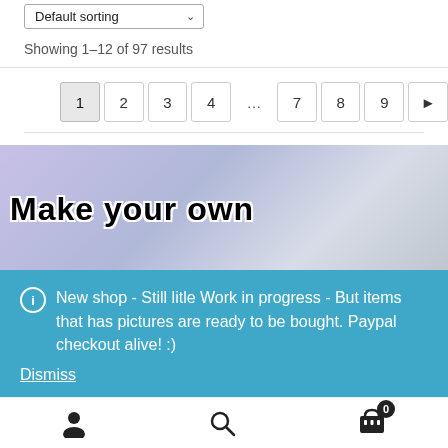Default sorting
Showing 1–12 of 97 results
1 2 3 4 … 7 8 9 ▶
[Figure (screenshot): Banner image with text 'Make your own' on a purple/blue blurred background]
ℹ New shop - Still litle Work in progress - But items that has pictures are ready to be bought. Paypal checkout alive! :)
Dismiss
User icon | Search icon | Cart icon with badge 0